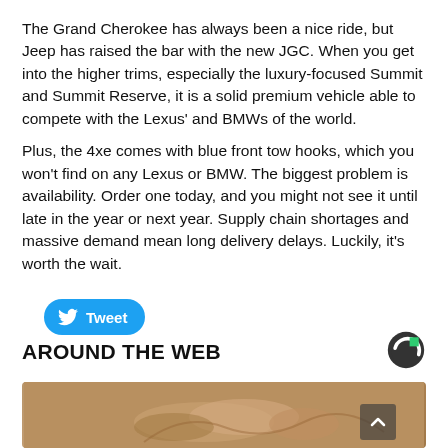The Grand Cherokee has always been a nice ride, but Jeep has raised the bar with the new JGC. When you get into the higher trims, especially the luxury-focused Summit and Summit Reserve, it is a solid premium vehicle able to compete with the Lexus' and BMWs of the world.
Plus, the 4xe comes with blue front tow hooks, which you won't find on any Lexus or BMW. The biggest problem is availability. Order one today, and you might not see it until late in the year or next year. Supply chain shortages and massive demand mean long delivery delays. Luckily, it's worth the wait.
[Figure (other): Twitter Tweet button with blue rounded rectangle background and white Twitter bird icon and 'Tweet' text]
AROUND THE WEB
[Figure (logo): Outbrain logo — a dark grey and green 'C' shaped circle icon]
[Figure (photo): Close-up photo of a hand holding small brown/tan seeds or nuts]